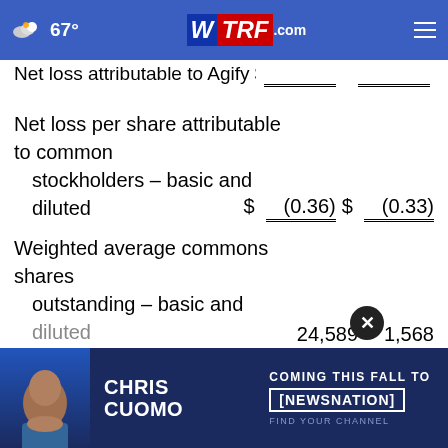67° WTRF.com
Net loss attributable to Agify $(  ) $(  )
|  | Col1 | Col2 |
| --- | --- | --- |
| Net loss per share attributable to common stockholders – basic and diluted | $ (0.36) | $ (0.33) |
| Weighted average commons shares outstanding – basic and diluted | 24,589 | 1,568 |
[Figure (infographic): Chris Cuomo Coming This Fall to NewsNation advertisement banner]